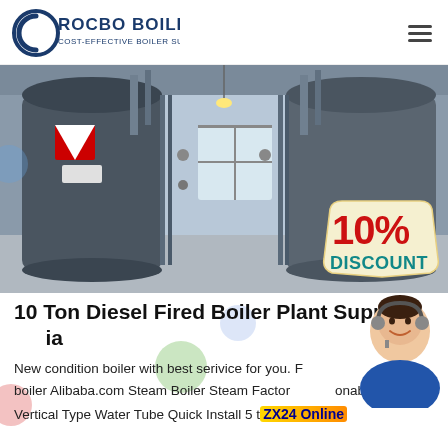[Figure (logo): Rocbo Boiler logo with circular C icon and text 'ROCBO BOILER / COST-EFFECTIVE BOILER SUPPLIER']
[Figure (photo): Industrial boiler facility interior showing large cylindrical diesel-fired boilers with piping and a 10% DISCOUNT badge overlay]
10 Ton Diesel Fired Boiler Plant Supplier India
New condition boiler with best serivice for you. Factory direct steam boiler Alibaba.com Steam Boiler Steam Factory, Reasonable Price Vertical Type Water Tube Quick Install 5 t